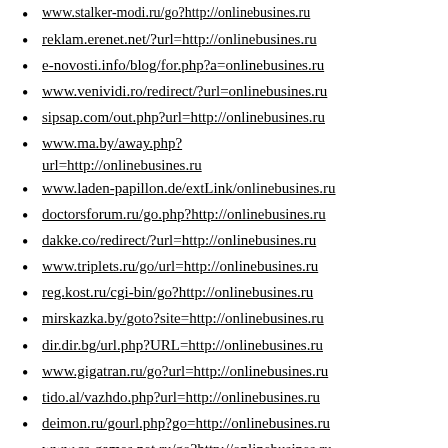www.stalker-modi.ru/go?http://onlinebusines.ru
reklam.erenet.net/?url=http://onlinebusines.ru
e-novosti.info/blog/for.php?a=onlinebusines.ru
www.venividi.ro/redirect/?url=onlinebusines.ru
sipsap.com/out.php?url=http://onlinebusines.ru
www.ma.by/away.php?url=http://onlinebusines.ru
www.laden-papillon.de/extLink/onlinebusines.ru
doctorsforum.ru/go.php?http://onlinebusines.ru
dakke.co/redirect/?url=http://onlinebusines.ru
www.triplets.ru/go/url=http://onlinebusines.ru
reg.kost.ru/cgi-bin/go?http://onlinebusines.ru
mirskazka.by/goto?site=http://onlinebusines.ru
dir.dir.bg/url.php?URL=http://onlinebusines.ru
www.gigatran.ru/go?url=http://onlinebusines.ru
tido.al/vazhdo.php?url=http://onlinebusines.ru
deimon.ru/gourl.php?go=http://onlinebusines.ru
www.cs-games.net.ru/go?http://onlinebusines.ru
oca.ucsc.edu/login?url=http://onlinebusines.ru